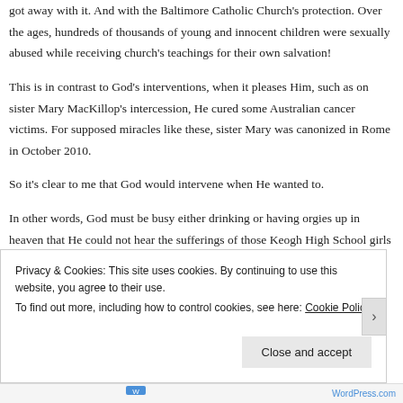got away with it. And with the Baltimore Catholic Church's protection. Over the ages, hundreds of thousands of young and innocent children were sexually abused while receiving church's teachings for their own salvation!
This is in contrast to God's interventions, when it pleases Him, such as on sister Mary MacKillop's intercession, He cured some Australian cancer victims. For supposed miracles like these, sister Mary was canonized in Rome in October 2010.
So it's clear to me that God would intervene when He wanted to.
In other words, God must be busy either drinking or having orgies up in heaven that He could not hear the sufferings of those Keogh High School girls or those young and innocent children at a Milwaukee orphanage and around the world in Ireland, Australia and so on. For He did hear what sister Mary asked of Him. Nothing else can explain it. Really.
Privacy & Cookies: This site uses cookies. By continuing to use this website, you agree to their use.
To find out more, including how to control cookies, see here: Cookie Policy
Close and accept